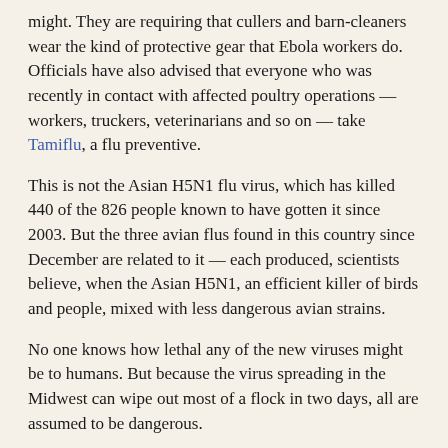might. They are requiring that cullers and barn-cleaners wear the kind of protective gear that Ebola workers do. Officials have also advised that everyone who was recently in contact with affected poultry operations — workers, truckers, veterinarians and so on — take Tamiflu, a flu preventive.
This is not the Asian H5N1 flu virus, which has killed 440 of the 826 people known to have gotten it since 2003. But the three avian flus found in this country since December are related to it — each produced, scientists believe, when the Asian H5N1, an efficient killer of birds and people, mixed with less dangerous avian strains.
No one knows how lethal any of the new viruses might be to humans. But because the virus spreading in the Midwest can wipe out most of a flock in two days, all are assumed to be dangerous.
The authorities are preparing for the panic that may ensue if someone catches one of these viruses and dies. Still, officials, say, most Americans are in little danger. The overall risks pale compared with those posed by well-known mortal threats that elicit no panic: car crashes, bee stings, bathroom falls and so on.